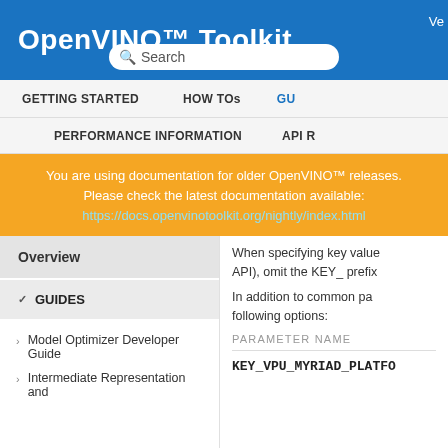OpenVINO™ Toolkit
Search
GETTING STARTED   HOW TOs   GU
PERFORMANCE INFORMATION   API R
You are using documentation for older OpenVINO™ releases. Please check the latest documentation available: https://docs.openvinotoolkit.org/nightly/index.html
When specifying key value (API), omit the KEY_ prefix
In addition to common parameters, following options:
Overview
GUIDES
Model Optimizer Developer Guide
Intermediate Representation and
PARAMETER NAME
KEY_VPU_MYRIAD_PLATFO